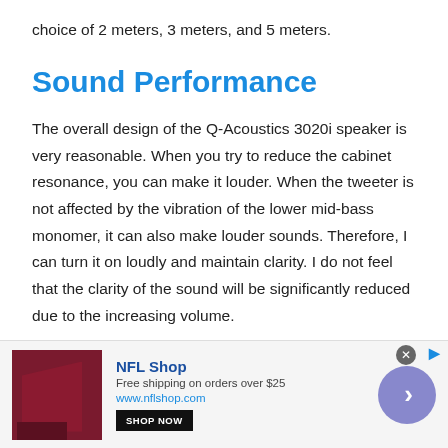choice of 2 meters, 3 meters, and 5 meters.
Sound Performance
The overall design of the Q-Acoustics 3020i speaker is very reasonable. When you try to reduce the cabinet resonance, you can make it louder. When the tweeter is not affected by the vibration of the lower mid-bass monomer, it can also make louder sounds. Therefore, I can turn it on loudly and maintain clarity. I do not feel that the clarity of the sound will be significantly reduced due to the increasing volume.
[Figure (other): NFL Shop advertisement banner with product image, shop now button, and navigation arrow]